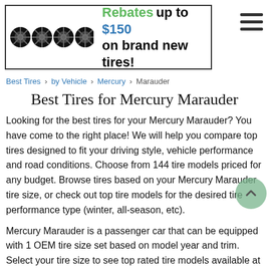[Figure (infographic): Banner advertisement showing four black alloy wheels/tires on the left and text 'Rebates up to $150 on brand new tires!' on the right, with a hamburger menu icon in the top right corner.]
Best Tires > by Vehicle > Mercury > Marauder
Best Tires for Mercury Marauder
Looking for the best tires for your Mercury Marauder? You have come to the right place! We will help you compare top tires designed to fit your driving style, vehicle performance and road conditions. Choose from 144 tire models priced for any budget. Browse tires based on your Mercury Marauder tire size, or check out top tire models for the desired tire performance type (winter, all-season, etc).
Mercury Marauder is a passenger car that can be equipped with 1 OEM tire size set based on model year and trim. Select your tire size to see top rated tire models available at best prices online. Do not see your